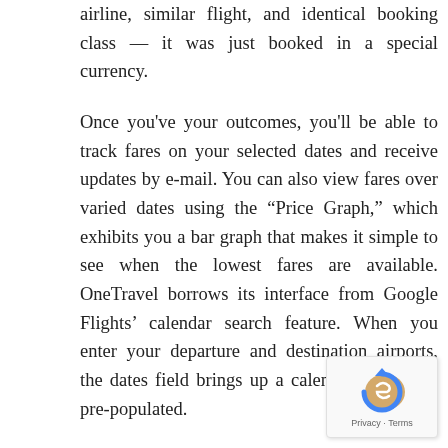airline, similar flight, and identical booking class — it was just booked in a special currency.
Once you've your outcomes, you'll be able to track fares on your selected dates and receive updates by e-mail. You can also view fares over varied dates using the “Price Graph,” which exhibits you a bar graph that makes it simple to see when the lowest fares are available. OneTravel borrows its interface from Google Flights’ calendar search feature. When you enter your departure and destination airports, the dates field brings up a calendar with costs pre-populated.
[Figure (other): reCAPTCHA badge with Privacy and Terms links]